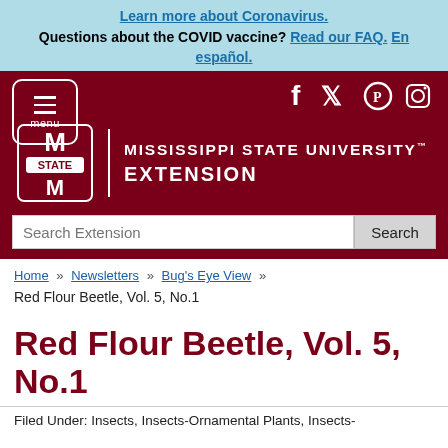Learn more about Coronavirus. Questions about the COVID vaccine? Read our FAQ. En español.
[Figure (screenshot): Mississippi State University Extension website header with menu button, social media icons (Facebook, Twitter, Pinterest, Instagram), MSU logo with STATE banner, and search bar]
Home » Newsletters » Bug's Eye View »
Red Flour Beetle, Vol. 5, No.1
Red Flour Beetle, Vol. 5, No.1
Filed Under: Insects, Insects-Ornamental Plants, Insects-